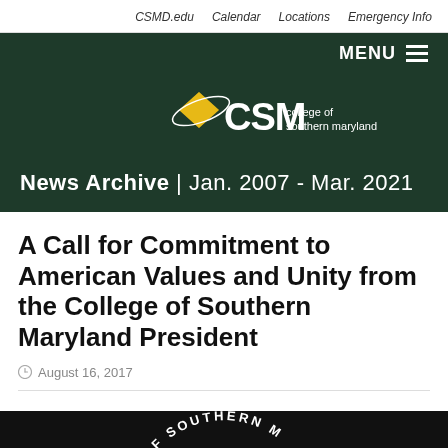CSMD.edu  Calendar  Locations  Emergency Info
MENU
[Figure (logo): CSM College of Southern Maryland logo with yellow diamond/mortarboard graphic and text 'CSM college of southern maryland', with tagline 'News Archive | Jan. 2007 - Mar. 2021']
A Call for Commitment to American Values and Unity from the College of Southern Maryland President
August 16, 2017
[Figure (photo): Partial view of College of Southern Maryland seal on dark/black background showing text 'OF SOUTHERN M' arc at top]